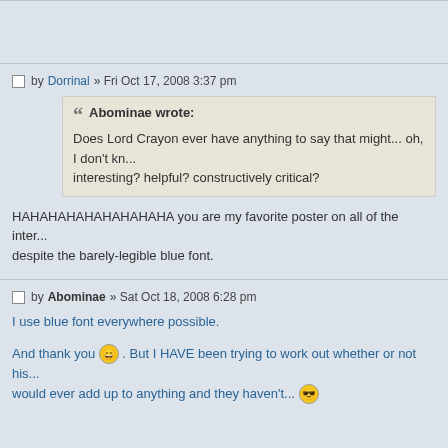(top of previous post, cut off)
by Dorrinal » Fri Oct 17, 2008 3:37 pm
Abominae wrote: Does Lord Crayon ever have anything to say that might... oh, I don't kn... interesting? helpful? constructively critical?
HAHAHAHAHAHAHAHAHA you are my favorite poster on all of the inter... despite the barely-legible blue font.
by Abominae » Sat Oct 18, 2008 6:28 pm
I use blue font everywhere possible.
And thank you 😀. But I HAVE been trying to work out whether or not his... would ever add up to anything and they haven't... 😎